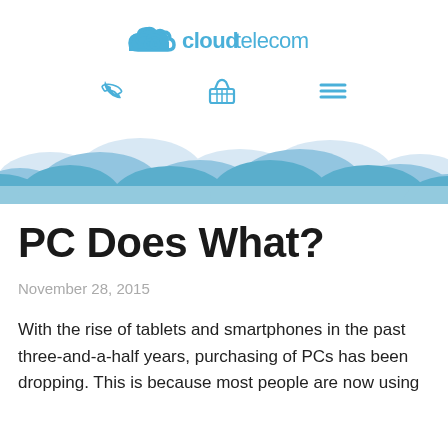cloudtelecom
[Figure (illustration): Cloud telecom logo with cloud icon and nav icons (phone, basket, menu)]
[Figure (illustration): Decorative banner with layered blue and light blue cloud/wave shapes]
PC Does What?
November 28, 2015
With the rise of tablets and smartphones in the past three-and-a-half years, purchasing of PCs has been dropping. This is because most people are now using